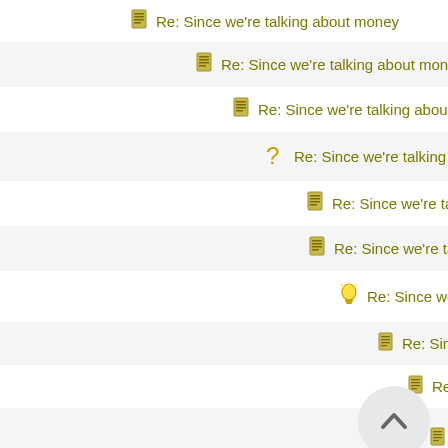Re: Since we're talking about money
Re: Since we're talking about money
Re: Since we're talking about money
Re: Since we're talking about money
Re: Since we're talking about money
Re: Since we're talking about money
Re: Since we're talking about money
Re: Since we're talking about money
Re: Since we're talking about money
Re: Since we're talking about money